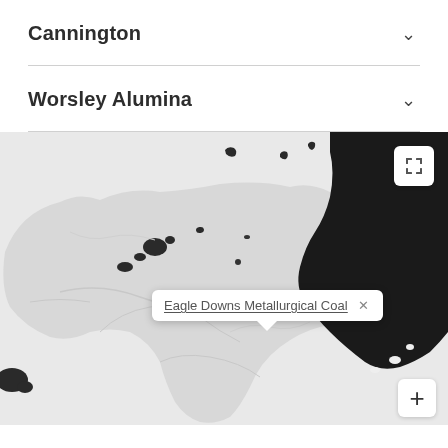Cannington
Worsley Alumina
[Figure (map): Interactive map of Australia showing location of Eagle Downs Metallurgical Coal site, with a tooltip popup labeling the site. Dark shaded area represents ocean/sea to the northeast (Queensland coast). Map controls include fullscreen button and zoom plus button.]